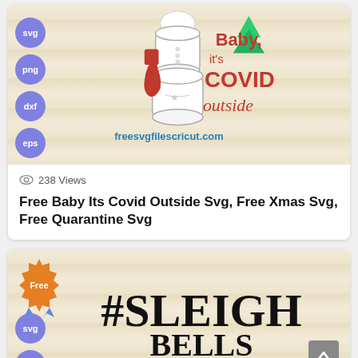[Figure (illustration): SVG file preview image showing a snowman with toilet paper rolls and Christmas decorations with text 'Baby it's COVID outside' on a wood-plank background. Left side has purple circle badges for svg, png, dxf, eps formats. Blue text at bottom reads freesvgfilescricut.com]
238 Views
Free Baby Its Covid Outside Svg, Free Xmas Svg, Free Quarantine Svg
[Figure (illustration): SVG file preview showing #SLEIGH text in large decorative black font on a wood-plank background. Orange 'Free' badge in top left, blue ribbon beneath it, purple circle badge for svg and png formats on the left side.]